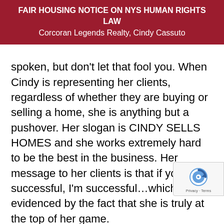FAIR HOUSING NOTICE ON NYS HUMAN RIGHTS LAW
Corcoran Legends Realty, Cindy Cassuto
spoken, but don't let that fool you. When Cindy is representing her clients, regardless of whether they are buying or selling a home, she is anything but a pushover. Her slogan is CINDY SELLS HOMES and she works extremely hard to be the best in the business. Her message to her clients is that if you're successful, I'm successful…which is evidenced by the fact that she is truly at the top of her game.
Cindy has a real passion for real estate and has always considered herself to be a trusted advisor and consultant, rather than a salesperson. She'll tell you she's not very interesting, but get her talking about the